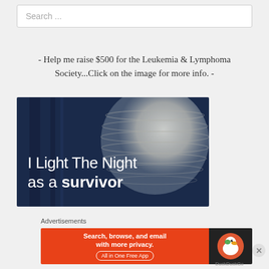Search ...
- Help me raise $500 for the Leukemia & Lymphoma Society...Click on the image for more info. -
[Figure (photo): I Light The Night as a survivor - image with a paper lantern on a dark blue background with white text]
Advertisements
[Figure (screenshot): DuckDuckGo advertisement banner: Search, browse, and email with more privacy. All in One Free App]